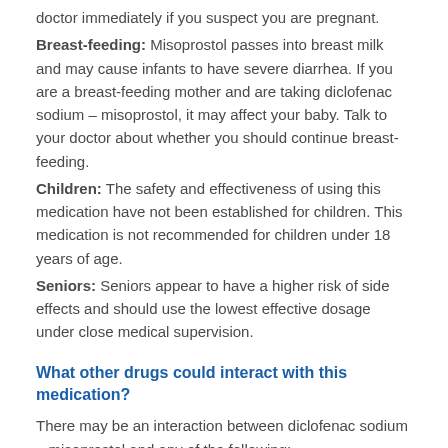doctor immediately if you suspect you are pregnant.
Breast-feeding: Misoprostol passes into breast milk and may cause infants to have severe diarrhea. If you are a breast-feeding mother and are taking diclofenac sodium – misoprostol, it may affect your baby. Talk to your doctor about whether you should continue breast-feeding.
Children: The safety and effectiveness of using this medication have not been established for children. This medication is not recommended for children under 18 years of age.
Seniors: Seniors appear to have a higher risk of side effects and should use the lowest effective dosage under close medical supervision.
What other drugs could interact with this medication?
There may be an interaction between diclofenac sodium – misoprostol and any of the following:
5-ASA medications (e.g., mesalamine, olsalzine